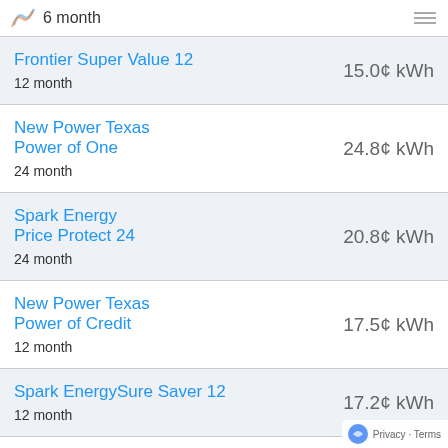6 month
Frontier Super Value 12 — 12 month — 15.0¢ kWh
New Power Texas Power of One — 24 month — 24.8¢ kWh
Spark Energy Price Protect 24 — 24 month — 20.8¢ kWh
New Power Texas Power of Credit — 12 month — 17.5¢ kWh
Spark EnergySure Saver 12 — 12 month — 17.2¢ kWh
Privacy · Terms